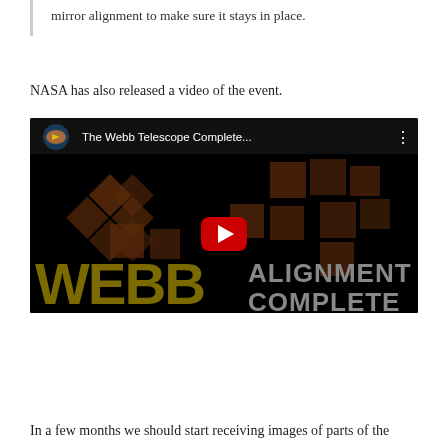mirror alignment to make sure it stays in place.
NASA has also released a video of the event.
[Figure (screenshot): YouTube video thumbnail showing the Webb Telescope mirror alignment completion video. The thumbnail has a black background with scattered dark brown hexagonal mirror segment shapes, a YouTube play button in the center, and large text reading 'WEBB ALIGNMENT COMPLETE'. The top bar shows a circular image of the Webb telescope and the title 'The Webb Telescope Complete...']
In a few months we should start receiving images of parts of the